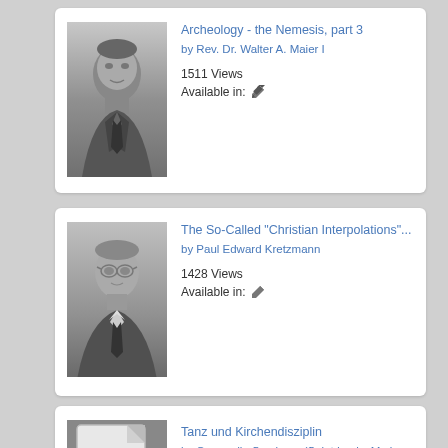[Figure (photo): Black and white portrait photo of Rev. Dr. Walter A. Maier I]
Archeology - the Nemesis, part 3
by Rev. Dr. Walter A. Maier I
1511 Views
Available in: ✏
[Figure (photo): Black and white portrait photo of Paul Edward Kretzmann]
The So-Called "Christian Interpolations"...
by Paul Edward Kretzmann
1428 Views
Available in: ✏
[Figure (illustration): PDF document icon with red PDF badge]
Tanz und Kirchendisziplin
by Concordia Seminary (Saint Louis, Mo.)
1471 Views
Available in: ✏